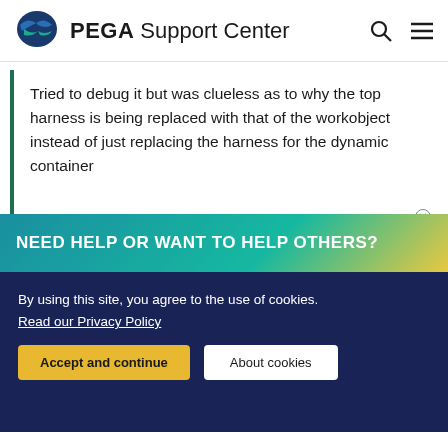PEGA Support Center
Tried to debug it but was clueless as to why the top harness is being replaced with that of the workobject instead of just replacing the harness for the dynamic container
Like (0)
NEED HELP OR WANT TO HELP OTHERS?
By using this site, you agree to the use of cookies.
Read our Privacy Policy
Accept and continue
About cookies